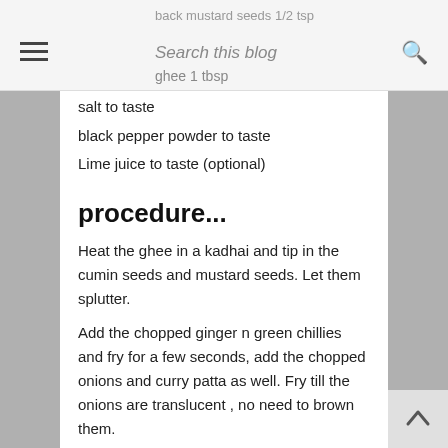back mustard seeds 1/2 tsp | ghee 1 tbsp | Search this blog
salt to taste
black pepper powder to taste
Lime juice to taste (optional)
procedure...
Heat the ghee in a kadhai and tip in the cumin seeds and mustard seeds. Let them splutter.
Add the chopped ginger n green chillies and fry for a few seconds, add the chopped onions and curry patta as well. Fry till the onions are translucent , no need to brown them.
Now add the salt n pepper and the chopped bits of coconut, reserve some coconut bits for garnish if you wish. Mix well and add the